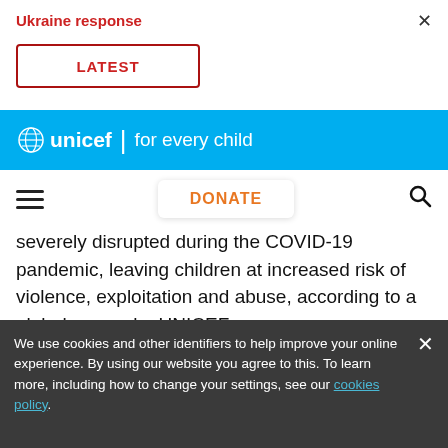Ukraine response
LATEST
[Figure (logo): UNICEF logo with 'for every child' tagline on cyan/blue background bar]
DONATE
severely disrupted during the COVID-19 pandemic, leaving children at increased risk of violence, exploitation and abuse, according to a global survey by UNICEF.
Of 136 countries that responded to UNICEF's
We use cookies and other identifiers to help improve your online experience. By using our website you agree to this. To learn more, including how to change your settings, see our cookies policy.